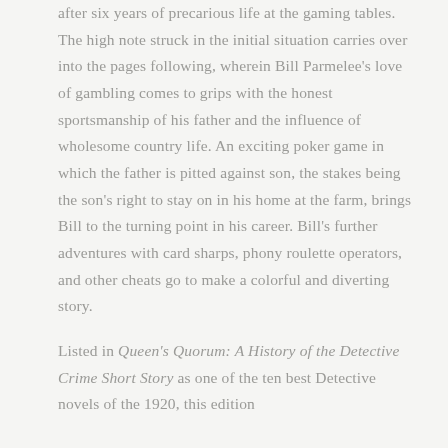after six years of precarious life at the gaming tables. The high note struck in the initial situation carries over into the pages following, wherein Bill Parmelee's love of gambling comes to grips with the honest sportsmanship of his father and the influence of wholesome country life. An exciting poker game in which the father is pitted against son, the stakes being the son's right to stay on in his home at the farm, brings Bill to the turning point in his career. Bill's further adventures with card sharps, phony roulette operators, and other cheats go to make a colorful and diverting story.
Listed in Queen's Quorum: A History of the Detective Crime Short Story as one of the ten best Detective novels of the 1920, this edition...